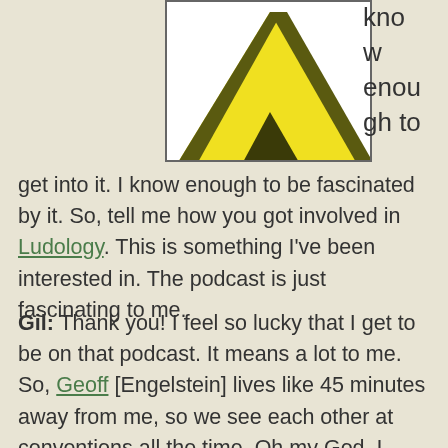[Figure (illustration): Partial image of a yellow tent-like or triangular shape with dark olive/brown diagonal stripes, shown in a white box with border, cropped at top of page]
know enough to get into it. I know enough to be fascinated by it. So, tell me how you got involved in Ludology. This is something I've been interested in. The podcast is just fascinating to me.
Gil: Thank you! I feel so lucky that I get to be on that podcast. It means a lot to me. So, Geoff [Engelstein] lives like 45 minutes away from me, so we see each other at conventions all the time. Oh my God, I forgot to call him!